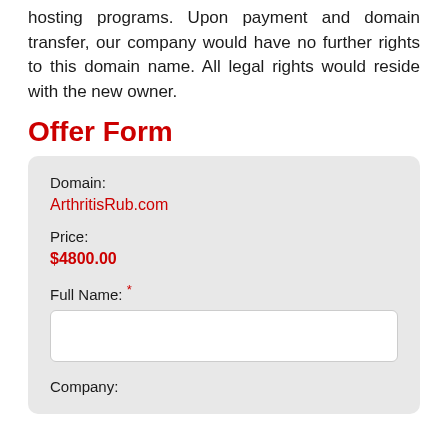hosting programs. Upon payment and domain transfer, our company would have no further rights to this domain name. All legal rights would reside with the new owner.
Offer Form
Domain: ArthritisRub.com
Price: $4800.00
Full Name: *
Company: